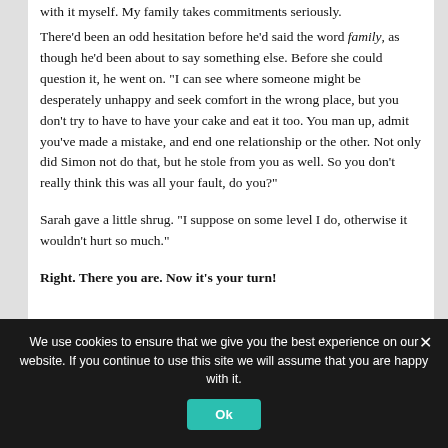with it myself. My family takes commitments seriously.
There’d been an odd hesitation before he’d said the word family, as though he’d been about to say something else. Before she could question it, he went on. “I can see where someone might be desperately unhappy and seek comfort in the wrong place, but you don’t try to have to have your cake and eat it too. You man up, admit you’ve made a mistake, and end one relationship or the other. Not only did Simon not do that, but he stole from you as well. So you don’t really think this was all your fault, do you?”
Sarah gave a little shrug. “I suppose on some level I do, otherwise it wouldn’t hurt so much.”
Right. There you are. Now it’s your turn!
We use cookies to ensure that we give you the best experience on our website. If you continue to use this site we will assume that you are happy with it.